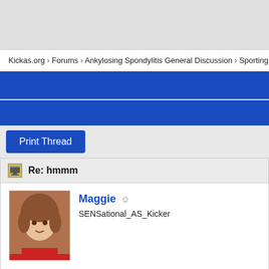Kickas.org > Forums > Ankylosing Spondylitis General Discussion > Sporting A
Re: hmmm
Maggie  SENSational_AS_Kicker
I can [image]
Tweet  Like  Share